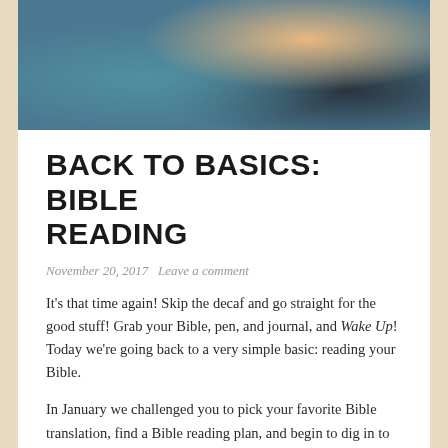[Figure (photo): A person reading a book/Bible, viewed from above, showing hands and denim jeans in a teal/blue toned photo]
BACK TO BASICS: BIBLE READING
November 20, 2017   Leave a comment
It's that time again! Skip the decaf and go straight for the good stuff! Grab your Bible, pen, and journal, and Wake Up! Today we're going back to a very simple basic: reading your Bible.
In January we challenged you to pick your favorite Bible translation, find a Bible reading plan, and begin to dig in to God's Word for 2017.
Did you do it?